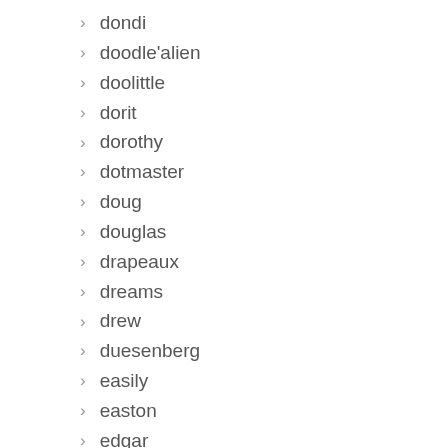dondi
doodle'alien
doolittle
dorit
dorothy
dotmaster
doug
douglas
drapeaux
dreams
drew
duesenberg
easily
easton
edgar